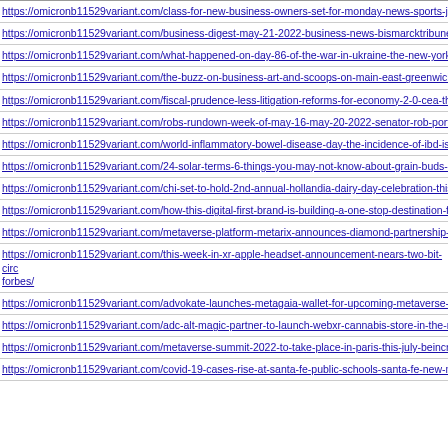https://omicronb11529variant.com/class-for-new-business-owners-set-for-monday-news-sports-job...
https://omicronb11529variant.com/business-digest-may-21-2022-business-news-bismarcktribune-c...
https://omicronb11529variant.com/what-happened-on-day-86-of-the-war-in-ukraine-the-new-york-...
https://omicronb11529variant.com/the-buzz-on-business-art-and-scoops-on-main-east-greenwich-n...
https://omicronb11529variant.com/fiscal-prudence-less-litigation-reforms-for-economy-2-0-cea-the...
https://omicronb11529variant.com/robs-rundown-week-of-may-16-may-20-2022-senator-rob-portm...
https://omicronb11529variant.com/world-inflammatory-bowel-disease-day-the-incidence-of-ibd-is-...
https://omicronb11529variant.com/24-solar-terms-6-things-you-may-not-know-about-grain-buds-ch...
https://omicronb11529variant.com/chi-set-to-hold-2nd-annual-hollandia-dairy-day-celebration-this...
https://omicronb11529variant.com/how-this-digital-first-brand-is-building-a-one-stop-destination-f...
https://omicronb11529variant.com/metaverse-platform-metarix-announces-diamond-partnership-wi...
https://omicronb11529variant.com/this-week-in-xr-apple-headset-announcement-nears-two-bit-circ...forbes/
https://omicronb11529variant.com/advokate-launches-metagaia-wallet-for-upcoming-metaverse-an...
https://omicronb11529variant.com/adc-alt-magic-partner-to-launch-webxr-cannabis-store-in-the-m...
https://omicronb11529variant.com/metaverse-summit-2022-to-take-place-in-paris-this-july-beincry...
https://omicronb11529variant.com/covid-19-cases-rise-at-santa-fe-public-schools-santa-fe-new-m...